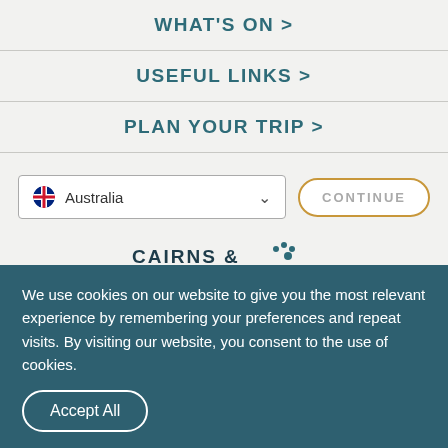WHAT'S ON >
USEFUL LINKS >
PLAN YOUR TRIP >
Australia (dropdown) | CONTINUE button
[Figure (logo): Cairns & Great Barrier Reef - Tropical North Queensland logo with decorative dots]
We use cookies on our website to give you the most relevant experience by remembering your preferences and repeat visits. By visiting our website, you consent to the use of cookies.
Accept All